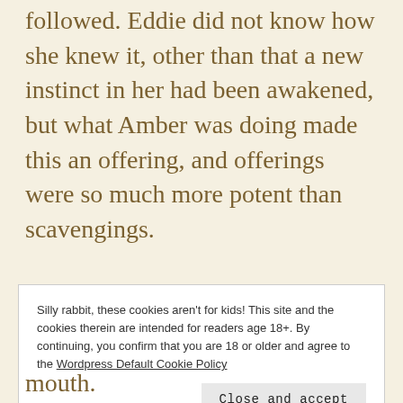followed. Eddie did not know how she knew it, other than that a new instinct in her had been awakened, but what Amber was doing made this an offering, and offerings were so much more potent than scavengings.
The jock was fully hard by the time Amber shut her door behind them and Eddie floated invisibly through.
Silly rabbit, these cookies aren't for kids! This site and the cookies therein are intended for readers age 18+. By continuing, you confirm that you are 18 or older and agree to the Wordpress Default Cookie Policy
mouth.